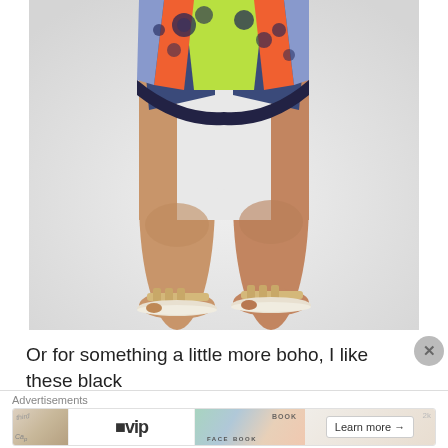[Figure (photo): A person wearing colorful printed shorts with green, orange, blue floral pattern and gold/metallic slide sandals, showing legs from approximately the waist down against a white/light grey background.]
Or for something a little more boho, I like these black
[Figure (other): Advertisements banner showing WordPress VIP logo with 'Learn more' button and colorful card background imagery]